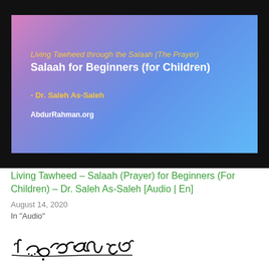[Figure (illustration): Book cover / promotional banner with gradient background (pink to blue). Text overlay includes title 'Living Tawheed through the Salaah (The Prayer) Salaah for Beginners (for Children)', author 'Dr. Saleh As-Saleh', and website 'AbdurRahman.org'. Black bars at top and bottom.]
Living Tawheed – Salaah (Prayer) for Beginners (For Children) – Dr. Saleh As-Saleh [Audio | En]
August 14, 2020
In "Audio"
[Figure (illustration): Arabic calligraphy of Bismillah (بسم الله الرحمن الرحيم) in black ink on white background, partially visible at bottom of page.]